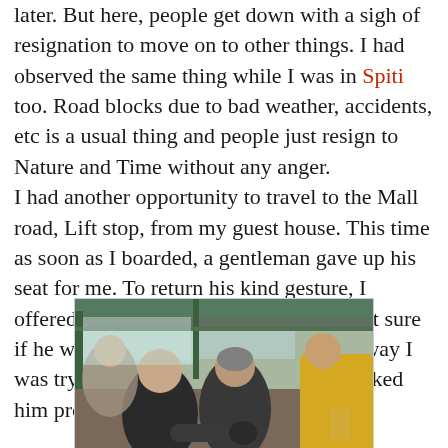later. But here, people get down with a sigh of resignation to move on to other things. I had observed the same thing while I was in Spiti too. Road blocks due to bad weather, accidents, etc is a usual thing and people just resign to Nature and Time without any anger.
I had another opportunity to travel to the Mall road, Lift stop, from my guest house. This time as soon as I boarded, a gentleman gave up his seat for me. To return his kind gesture, I offered to hold his bag this time. I am not sure if he was worried I may fall, seeing the way I was trying to find my balance, but I thanked him profusely.
[Figure (photo): Interior of a crowded bus showing passengers from behind, including a man in a dark jacket, a person with a grey beanie, and someone in a bright yellow jacket on the right. The scene shows people standing and seated inside the bus.]